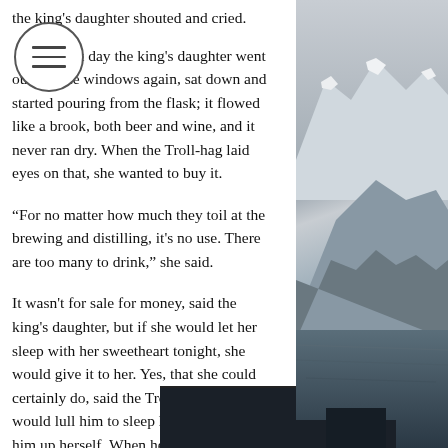the king's daughter shouted and cried.
t day the king's daughter went outside the windows again, sat down and started pouring from the flask; it flowed like a brook, both beer and wine, and it never ran dry. When the Troll-hag laid eyes on that, she wanted to buy it.
“For no matter how much they toil at the brewing and distilling, it's no use. There are too many to drink,” she said.
It wasn't for sale for money, said the king's daughter, but if she would let her sleep with her sweetheart tonight, she would give it to her. Yes, that she could certainly do, said the Troll-hag, but she would lull him to sleep herself, and wake him up herself. When he had gone to bed, she gave him a sleeping potion again, so the King's daughter had no better luck that night either. He couldn't be awakened, for all she cried and shouted. But that night one of the artisans was working in the room next door. He heard her cry in there, and he guessed what had really happened, and the next day he told the prince that she must have come, the king who was to have
[Figure (photo): Snow-capped mountain peaks with glaciers and a dark lake or fjord at the base, black and white or desaturated photograph on the right side of the page.]